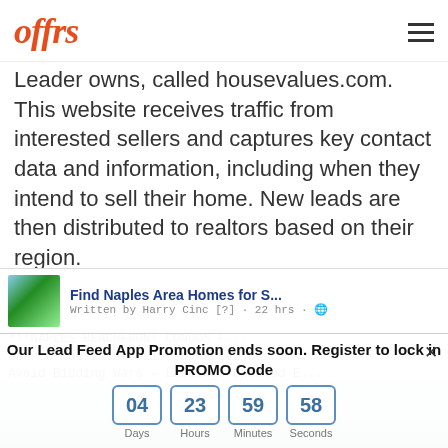offrs (logo) + hamburger menu
Leader owns, called housevalues.com. This website receives traffic from interested sellers and captures key contact data and information, including when they intend to sell their home. New leads are then distributed to realtors based on their region.
[Figure (screenshot): Facebook post card showing 'Find Naples Area Homes for S...' written by Harry Cinc [?] - 22 hrs, with text about Naples Beachfront Condos, MLS Access]
[Figure (photo): Sky and clouds panoramic photograph]
Our Lead Feed App Promotion ends soon. Register to lock in PROMO Code
04 Days  23 Hours  59 Minutes  58 Seconds